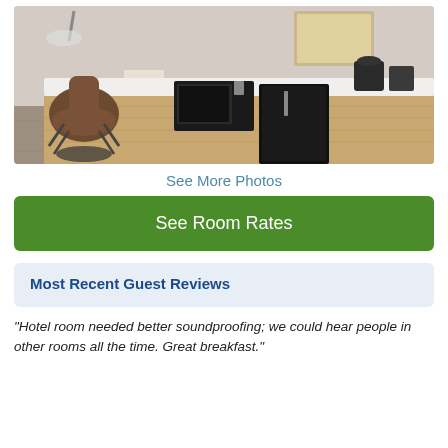[Figure (photo): Hotel room interior showing a work desk area with a brown office chair, white countertop, microwave, mini-fridge, and coffee maker. Modern wood cabinetry with light carpet flooring.]
See More Photos
See Room Rates
Most Recent Guest Reviews
"Hotel room needed better soundproofing; we could hear people in other rooms all the time. Great breakfast."